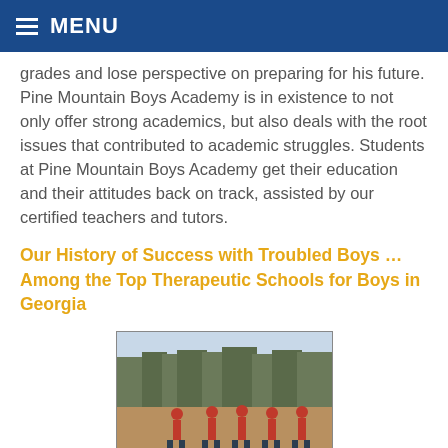MENU
grades and lose perspective on preparing for his future. Pine Mountain Boys Academy is in existence to not only offer strong academics, but also deals with the root issues that contributed to academic struggles. Students at Pine Mountain Boys Academy get their education and their attitudes back on track, assisted by our certified teachers and tutors.
Our History of Success with Troubled Boys … Among the Top Therapeutic Schools for Boys in Georgia
[Figure (photo): Group of boys in red shirts doing outdoor physical activity or exercise on a dirt field with trees in background]
Pine Mountain boys learn...